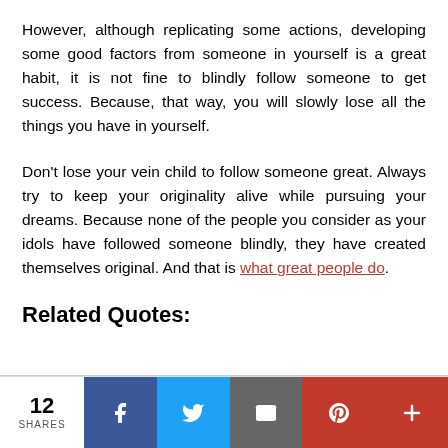However, although replicating some actions, developing some good factors from someone in yourself is a great habit, it is not fine to blindly follow someone to get success. Because, that way, you will slowly lose all the things you have in yourself.
Don't lose your vein child to follow someone great. Always try to keep your originality alive while pursuing your dreams. Because none of the people you consider as your idols have followed someone blindly, they have created themselves original. And that is what great people do.
Related Quotes:
[Figure (infographic): Social sharing bar with 12 SHARES count and buttons for Facebook, Twitter, Email, Pinterest, and a plus button]